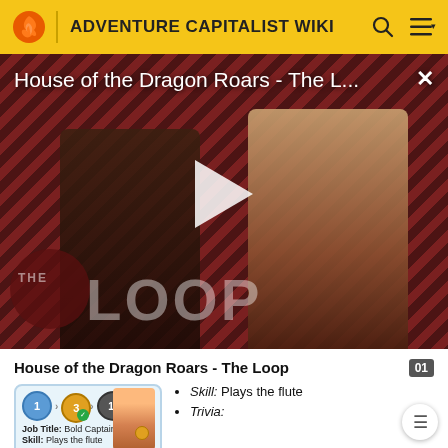ADVENTURE CAPITALIST WIKI
[Figure (screenshot): Video thumbnail showing House of the Dragon Roars - The Loop with two characters and a play button overlay, with THE LOOP branding]
House of the Dragon Roars - The Loop
[Figure (illustration): Game card showing a character with badges labeled 1, 3, 10, Job Title: Bold Captain, Skill: Plays the flute]
Skill: Plays the flute
Trivia: